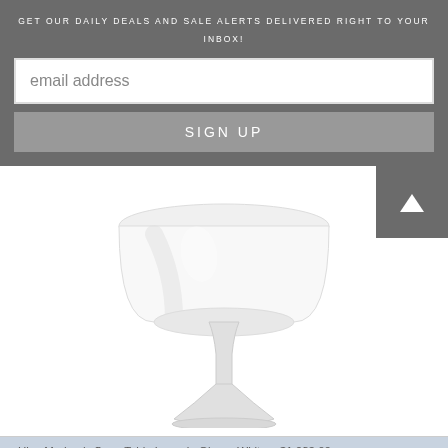GET OUR DAILY DEALS AND SALE ALERTS DELIVERED RIGHT TO YOUR INBOX!
email address
SIGN UP
[Figure (photo): A modern white table lamp (Hive Modern Spun Table Lamp in Glossy White) with a wide cylindrical drum shade and a tulip-style base, shown on a white background.]
Hive Modern's Spun Table Lamp in Glossy White = $1,032.00
Save with in-state tuition for e